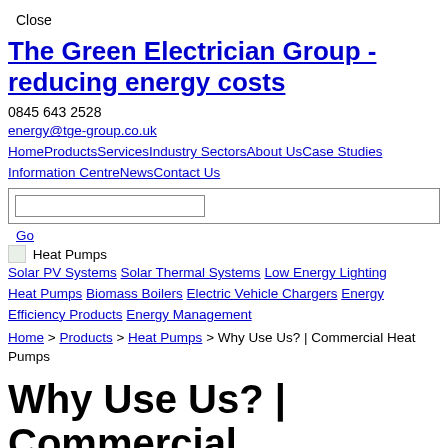Close
The Green Electrician Group - reducing energy costs
0845 643 2528
energy@tge-group.co.uk
Home Products Services Industry Sectors About Us Case Studies Information Centre News Contact Us
[Figure (screenshot): Search input box area with a text field and border]
Go
[Figure (illustration): Heat Pumps icon/image placeholder]
Solar PV Systems  Solar Thermal Systems  Low Energy Lighting  Heat Pumps  Biomass Boilers  Electric Vehicle Chargers  Energy Efficiency Products  Energy Management
Home > Products > Heat Pumps > Why Use Us? | Commercial Heat Pumps
Why Use Us? | Commercial Heat Pumps